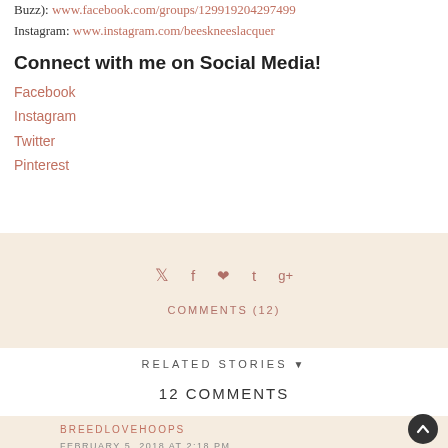Buzz): www.facebook.com/groups/129919204297499
Instagram: www.instagram.com/beeskneeslacquer
Connect with me on Social Media!
Facebook
Instagram
Twitter
Pinterest
[Figure (infographic): Social share bar with icons for Twitter, Facebook, Pinterest, Tumblr, and Google+, and a COMMENTS (12) link, on a beige background]
RELATED STORIES ▼
12 COMMENTS
BREEDLOVEHOOPS
FEBRUARY 5, 2018 AT 2:18 PM